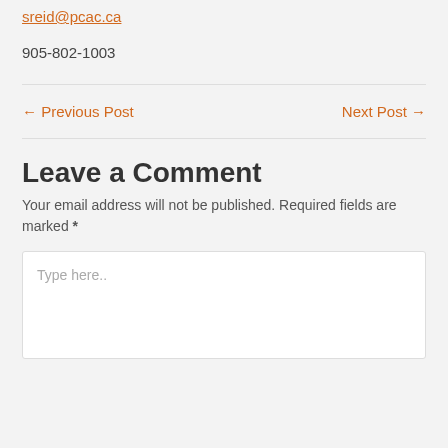sreid@pcac.ca
905-802-1003
← Previous Post
Next Post →
Leave a Comment
Your email address will not be published. Required fields are marked *
Type here..